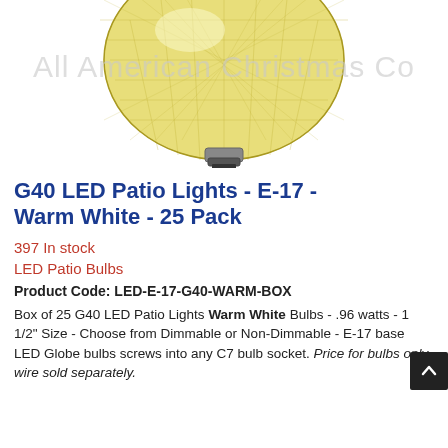[Figure (photo): Close-up of a G40 LED globe patio light bulb with diamond-cut faceted yellow/warm white glass, showing the base. Watermark 'All American Christmas Co' overlaid in gray.]
G40 LED Patio Lights - E-17 - Warm White - 25 Pack
397 In stock
LED Patio Bulbs
Product Code: LED-E-17-G40-WARM-BOX
Box of 25 G40 LED Patio Lights Warm White Bulbs - .96 watts - 1 1/2" Size - Choose from Dimmable or Non-Dimmable - E-17 base LED Globe bulbs screws into any C7 bulb socket. Price for bulbs only, wire sold separately.